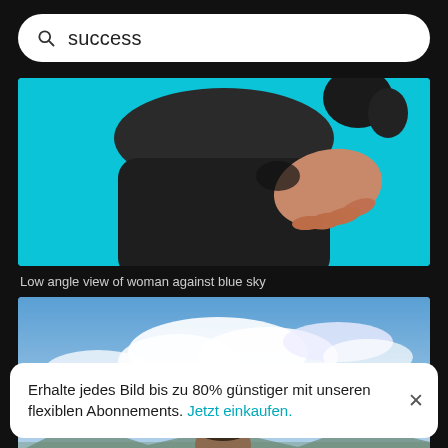success
[Figure (photo): Low angle view of woman in black sportswear with hand on hip against bright blue sky]
Low angle view of woman against blue sky
[Figure (photo): Man in plaid shirt standing on mountain top looking out over misty valley with cloudy sky]
Erhalte jedes Bild bis zu 80% günstiger mit unseren flexiblen Abonnements. Jetzt einkaufen.